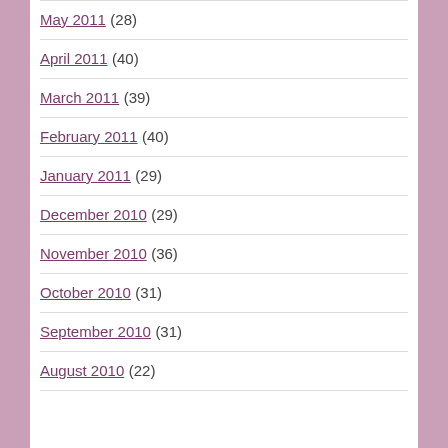May 2011 (28)
April 2011 (40)
March 2011 (39)
February 2011 (40)
January 2011 (29)
December 2010 (29)
November 2010 (36)
October 2010 (31)
September 2010 (31)
August 2010 (22)